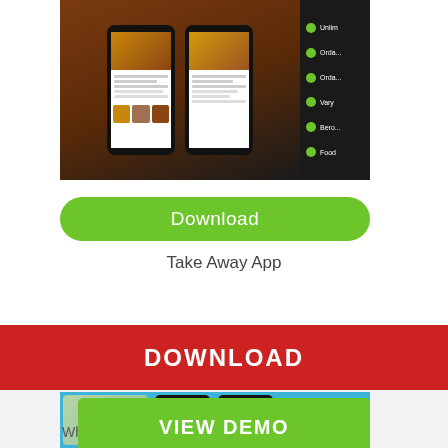[Figure (screenshot): Mobile app screenshot showing phones with pizza app on dark background with feature list]
[Figure (other): Green Download button with white text]
Take Away App
[Figure (screenshot): Chat/messenger mobile app screenshot on blue background]
[Figure (other): Red DOWNLOAD banner button]
[Figure (other): Green VIEW DEMO button]